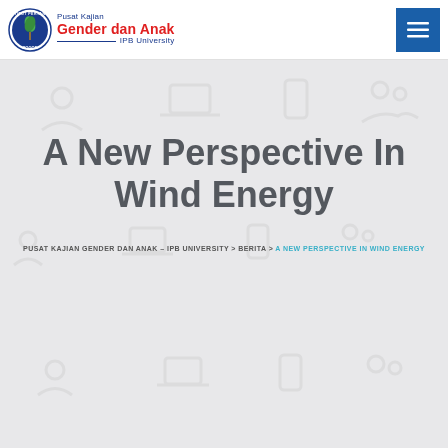Pusat Kajian Gender dan Anak – IPB University
A New Perspective In Wind Energy
PUSAT KAJIAN GENDER DAN ANAK – IPB UNIVERSITY > BERITA > A NEW PERSPECTIVE IN WIND ENERGY